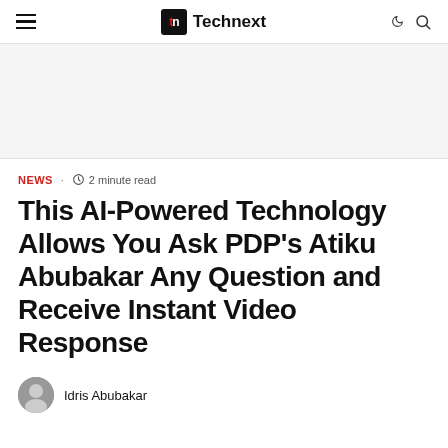Technext
NEWS · 2 minute read
This AI-Powered Technology Allows You Ask PDP's Atiku Abubakar Any Question and Receive Instant Video Response
Idris Abubakar